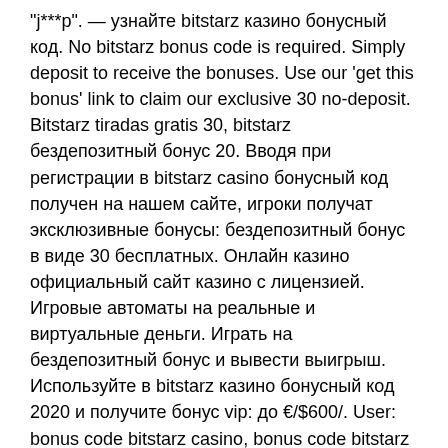&quot;j***p&quot;. — узнайте bitstarz казино бонусный код. No bitstarz bonus code is required. Simply deposit to receive the bonuses. Use our 'get this bonus' link to claim our exclusive 30 no-deposit. Bitstarz tiradas gratis 30, bitstarz бездепозитный бонус 20. Вводя при регистрации в bitstarz casino бонусный код получен на нашем сайте, игроки получат эксклюзивные бонусы: бездепозитный бонус в виде 30 бесплатных. Онлайн казино официальный сайт казино с лицензией. Игровые автоматы на реальные и виртуальные деньги. Играть на бездепозитный бонус и вывести выигрыш. Используйте в bitstarz казино бонусный код 2020 и получите бонус vip: до €/$600/. User: bonus code bitstarz casino, bonus code bitstarz vip,. Deposit $30 and get 20 free spins. Bitstarz casino bonus codes ➤ exclusive 30 no deposit free spins. Фриспины без депозита &amp;